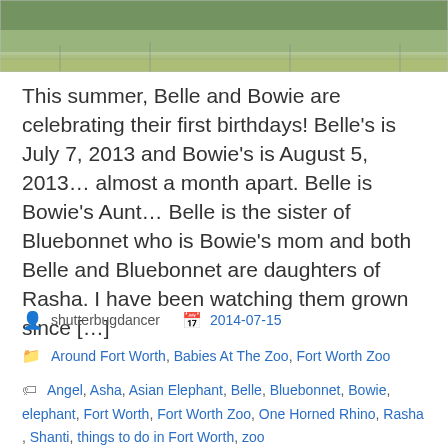[Figure (photo): Outdoor photo showing grass and an outdoor zoo or park area, cropped at top of page]
This summer, Belle and Bowie are celebrating their first birthdays!  Belle's is July 7, 2013 and Bowie's is August 5, 2013… almost a month apart.  Belle is Bowie's Aunt… Belle is the sister of Bluebonnet who is Bowie's mom and both Belle and Bluebonnet are daughters of Rasha. I have been watching them grown since […]
shutterbugdancer   2014-07-15
Around Fort Worth , Babies At The Zoo , Fort Worth Zoo
Angel , Asha , Asian Elephant , Belle , Bluebonnet , Bowie , elephant , Fort Worth , Fort Worth Zoo , One Horned Rhino , Rasha , Shanti , things to do in Fort Worth , zoo